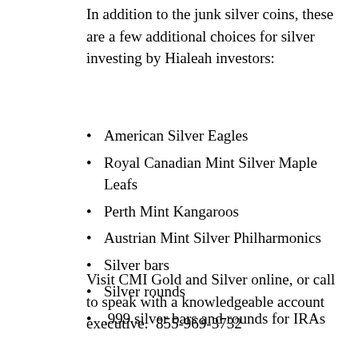In addition to the junk silver coins, these are a few additional choices for silver investing by Hialeah investors:
American Silver Eagles
Royal Canadian Mint Silver Maple Leafs
Perth Mint Kangaroos
Austrian Mint Silver Philharmonics
Silver bars
Silver rounds
.999 silver bars and rounds for IRAs
Visit CMI Gold and Silver online, or call to speak with a knowledgeable account executive.  855-969-3732